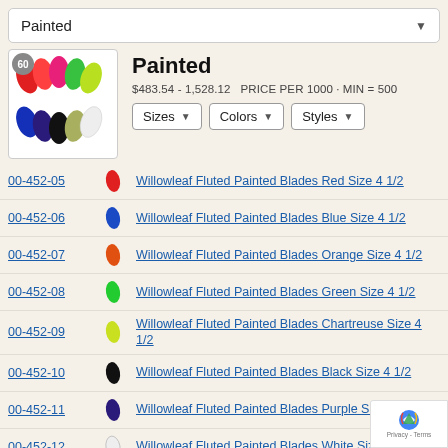Painted
$483.54 - 1,528.12   PRICE PER 1000 · MIN = 500
[Figure (photo): Grid of painted willowleaf spinner blades in various colors: red, orange, pink, green, chartreuse, blue, dark blue, black, white]
00-452-05 — Willowleaf Fluted Painted Blades Red Size 4 1/2
00-452-06 — Willowleaf Fluted Painted Blades Blue Size 4 1/2
00-452-07 — Willowleaf Fluted Painted Blades Orange Size 4 1/2
00-452-08 — Willowleaf Fluted Painted Blades Green Size 4 1/2
00-452-09 — Willowleaf Fluted Painted Blades Chartreuse Size 4 1/2
00-452-10 — Willowleaf Fluted Painted Blades Black Size 4 1/2
00-452-11 — Willowleaf Fluted Painted Blades Purple Size 4 1/2
00-452-12 — Willowleaf Fluted Painted Blades White Size 4 1/2